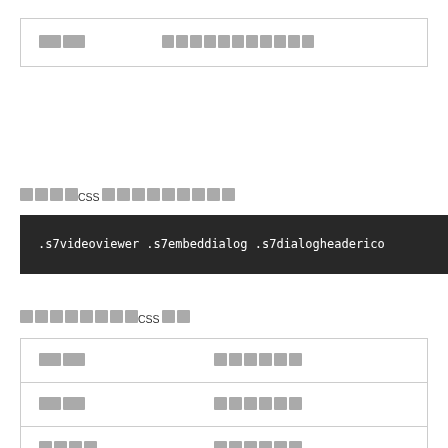| 属性 | 説明 |
| --- | --- |
| 属性 | 属性の説明テキスト |
サンプルCSS（コードの例）
.s7videoviewer .s7embeddialog .s7dialogheaderico
サポートされたCSSプロ
| 属性 | 説明 |
| --- | --- |
| 属性 | 説明の値 |
| 属性 | 説明の値 |
| 属性 | 説明の値 |